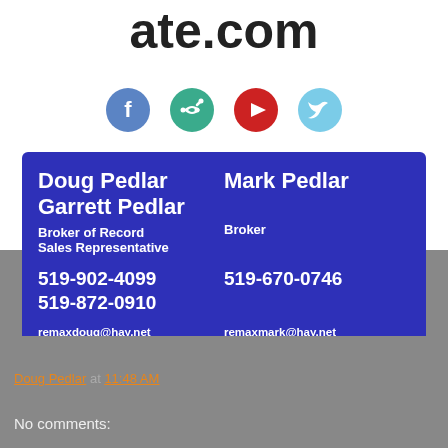ate.com
[Figure (infographic): Four social media icon circles: Facebook (blue), Link (green), YouTube (red), Twitter (light blue)]
Doug Pedlar  Mark Pedlar
Garrett Pedlar
Broker of Record  Broker
Sales Representative
519-902-4099  519-670-0746
519-872-0910
remaxdoug@hay.net  remaxmark@hay.net
remaxgarrett@hay.net
Doug Pedlar at 11:48 AM
No comments: